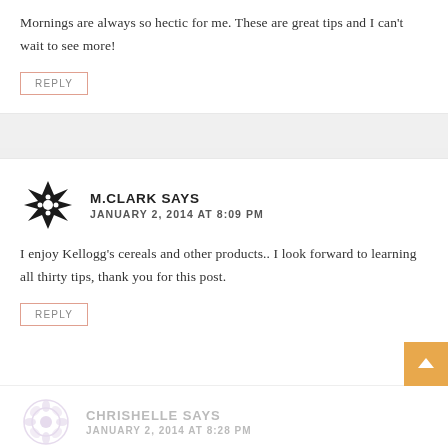Mornings are always so hectic for me. These are great tips and I can't wait to see more!
REPLY
[Figure (illustration): Decorative geometric snowflake/star avatar icon for M.Clark]
M.CLARK SAYS
JANUARY 2, 2014 AT 8:09 PM
I enjoy Kellogg's cereals and other products.. I look forward to learning all thirty tips, thank you for this post.
REPLY
[Figure (illustration): Decorative geometric floral avatar icon for Chrishelle]
CHRISHELLE SAYS
JANUARY 2, 2014 AT 8:28 PM